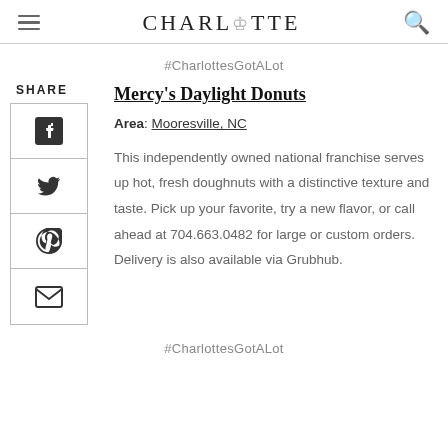CHARLOTTE
#CharlottesGotALot
Mercy's Daylight Donuts
Area: Mooresville, NC
This independently owned national franchise serves up hot, fresh doughnuts with a distinctive texture and taste. Pick up your favorite, try a new flavor, or call ahead at 704.663.0482 for large or custom orders. Delivery is also available via Grubhub.
#CharlottesGotALot